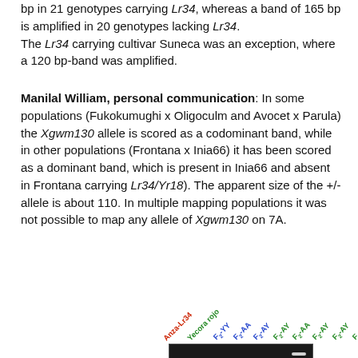bp in 21 genotypes carrying Lr34, whereas a band of 165 bp is amplified in 20 genotypes lacking Lr34. The Lr34 carrying cultivar Suneca was an exception, where a 120 bp-band was amplified.
Manilal William, personal communication: In some populations (Fukokumughi x Oligoculm and Avocet x Parula) the Xgwm130 allele is scored as a codominant band, while in other populations (Frontana x Inia66) it has been scored as a dominant band, which is present in Inia66 and absent in Frontana carrying Lr34/Yr18). The apparent size of the +/- allele is about 110. In multiple mapping populations it was not possible to map any allele of Xgwm130 on 7A.
[Figure (photo): Gel electrophoresis image showing lane labels: Anza-Lr34 (red), Yecora rojo (green), F2-YY, F2-AA, F2-AY (multiple lanes in blue/green), with a 200-bp band marker indicated on the right.]